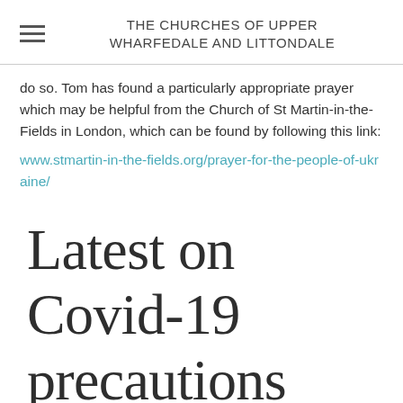THE CHURCHES OF UPPER WHARFEDALE AND LITTONDALE
do so. Tom has found a particularly appropriate prayer which may be helpful from the Church of St Martin-in-the-Fields in London, which can be found by following this link:
www.stmartin-in-the-fields.org/prayer-for-the-people-of-ukraine/
Latest on Covid-19 precautions
In the light of more changes to national rules, and subsequently in the behaviour of many people in